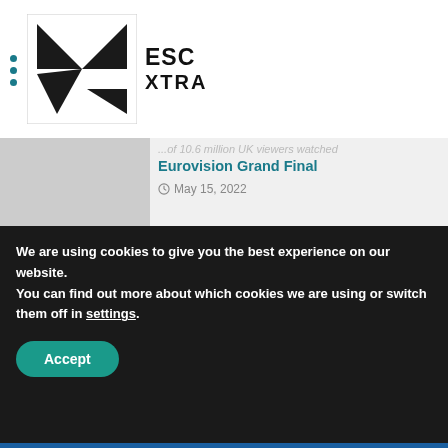ESC XTRA
...million Eurovision Final
...of 10.6 million UK viewers watched Eurovision Grand Final
May 15, 2022
Press Poll Results – Who will win the Eurovision Song Contest 2022?
May 14, 2022
Press Poll Results – Grand Final Jury Show
May 14, 2022
We are using cookies to give you the best experience on our website.
You can find out more about which cookies we are using or switch them off in settings.
Accept